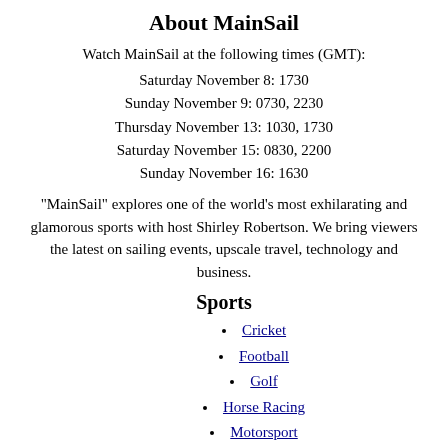About MainSail
Watch MainSail at the following times (GMT):
Saturday November 8: 1730
Sunday November 9: 0730, 2230
Thursday November 13: 1030, 1730
Saturday November 15: 0830, 2200
Sunday November 16: 1630
"MainSail" explores one of the world's most exhilarating and glamorous sports with host Shirley Robertson. We bring viewers the latest on sailing events, upscale travel, technology and business.
Sports
Cricket
Football
Golf
Horse Racing
Motorsport
Rugby
Sailing